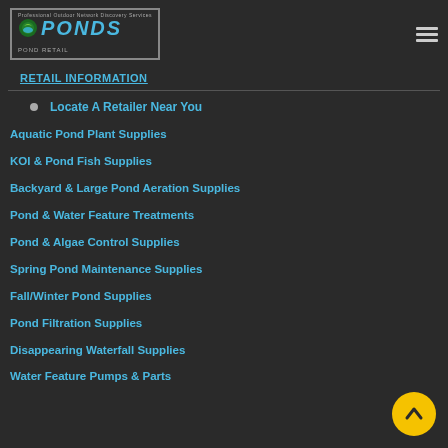[Figure (logo): PONDS logo with text 'Professional Outdoor Network Discovery Services' and 'POND RETAIL' subtitle]
RETAIL INFORMATION
Locate A Retailer Near You
Aquatic Pond Plant Supplies
KOI & Pond Fish Supplies
Backyard & Large Pond Aeration Supplies
Pond & Water Feature Treatments
Pond & Algae Control Supplies
Spring Pond Maintenance Supplies
Fall/Winter Pond Supplies
Pond Filtration Supplies
Disappearing Waterfall Supplies
Water Feature Pumps & Parts